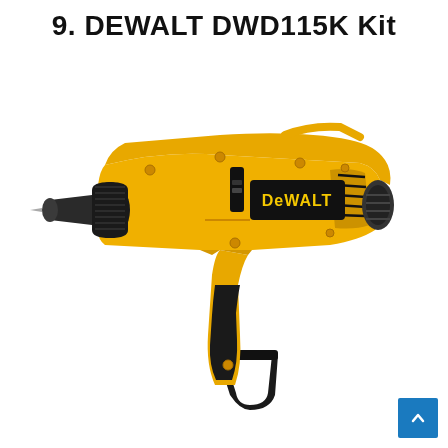9. DEWALT DWD115K Kit
[Figure (photo): DEWALT DWD115K electric drill/driver in yellow and black color, shown from the side with chuck visible on the left, DEWALT logo on the body, ventilation slots, ergonomic pistol-grip handle, and power cord at the bottom.]